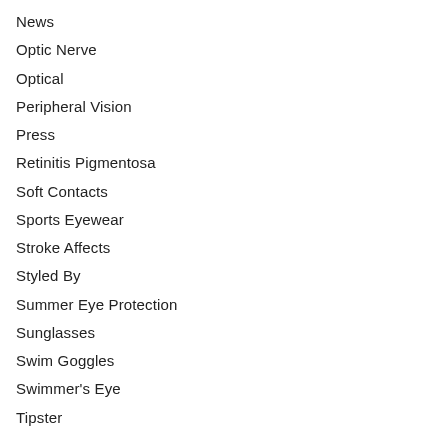News
Optic Nerve
Optical
Peripheral Vision
Press
Retinitis Pigmentosa
Soft Contacts
Sports Eyewear
Stroke Affects
Styled By
Summer Eye Protection
Sunglasses
Swim Goggles
Swimmer's Eye
Tipster